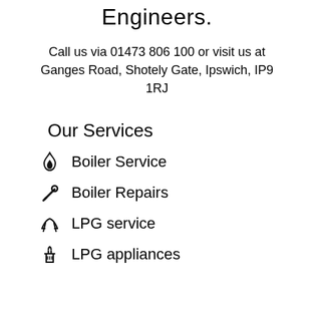Engineers.
Call us via 01473 806 100 or visit us at Ganges Road, Shotely Gate, Ipswich, IP9 1RJ
Our Services
Boiler Service
Boiler Repairs
LPG service
LPG appliances